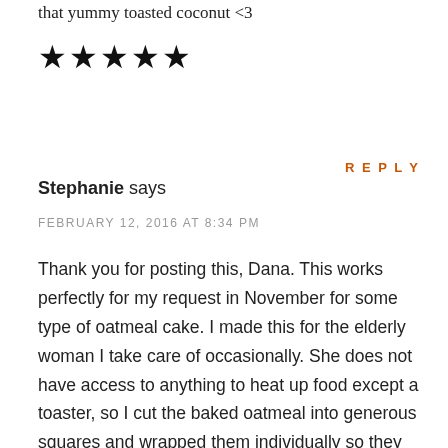that yummy toasted coconut <3
[Figure (other): Five filled star icons representing a 5-star rating]
REPLY
Stephanie says
FEBRUARY 12, 2016 AT 8:34 PM
Thank you for posting this, Dana. This works perfectly for my request in November for some type of oatmeal cake. I made this for the elderly woman I take care of occasionally. She does not have access to anything to heat up food except a toaster, so I cut the baked oatmeal into generous squares and wrapped them individually so they could be doled out each evening for her to toast in the morning.